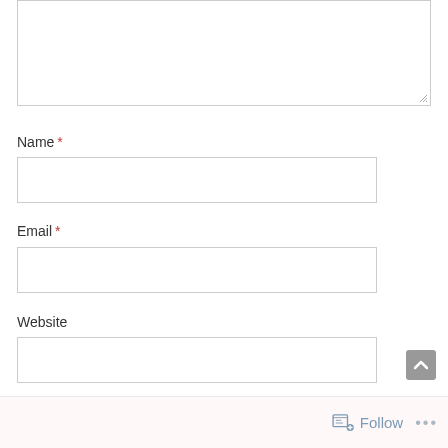[Figure (screenshot): Empty textarea input field with resize handle at bottom right]
Name *
[Figure (screenshot): Empty text input field for Name]
Email *
[Figure (screenshot): Empty text input field for Email]
Website
[Figure (screenshot): Empty text input field for Website]
Follow ...